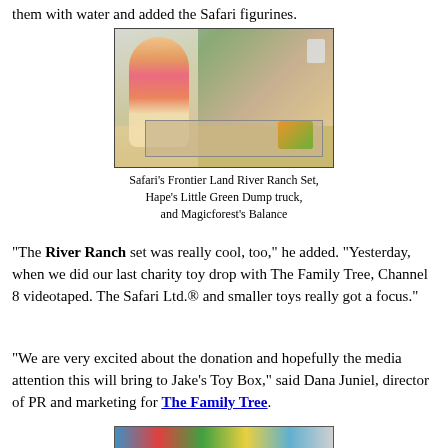them with water and added the Safari figurines.
[Figure (photo): A young girl with blonde hair in a colorful striped shirt plays with a toy ranch set on a table. An adult stands nearby. The set includes wooden fences, toy animals, and colorful toy trucks.]
Safari's Frontier Land River Ranch Set,
Hape's Little Green Dump truck,
and Magicforest's Balance
"The River Ranch set was really cool, too," he added. "Yesterday, when we did our last charity toy drop with The Family Tree, Channel 8 videotaped. The Safari Ltd.® and smaller toys really got a focus."
"We are very excited about the donation and hopefully the media attention this will bring to Jake's Toy Box," said Dana Juniel, director of PR and marketing for The Family Tree.
[Figure (photo): People holding colorful signs, partially visible at the bottom of the page.]